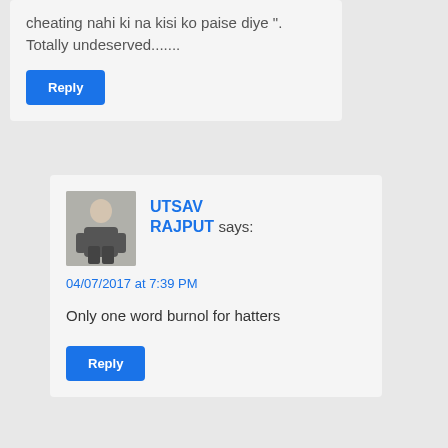cheating nahi ki na kisi ko paise diye ". Totally undeserved.......
Reply
UTSAV RAJPUT says:
04/07/2017 at 7:39 PM
Only one word burnol for hatters
Reply